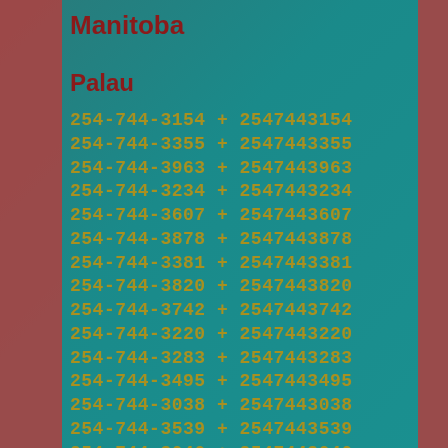Manitoba
Palau
254-744-3154 + 2547443154
254-744-3355 + 2547443355
254-744-3963 + 2547443963
254-744-3234 + 2547443234
254-744-3607 + 2547443607
254-744-3878 + 2547443878
254-744-3381 + 2547443381
254-744-3820 + 2547443820
254-744-3742 + 2547443742
254-744-3220 + 2547443220
254-744-3283 + 2547443283
254-744-3495 + 2547443495
254-744-3038 + 2547443038
254-744-3539 + 2547443539
254-744-3046 + 2547443046
254-744-3450 + 2547443450
254-744-3777 + 2547443777